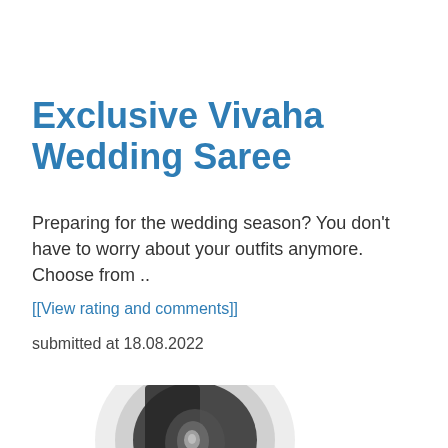Exclusive Vivaha Wedding Saree
Preparing for the wedding season? You don't have to worry about your outfits anymore. Choose from ..
[[View rating and comments]]
submitted at 18.08.2022
[Figure (photo): Partial blurred image showing a dark figurine or decorative object, partially cropped at the bottom of the page.]